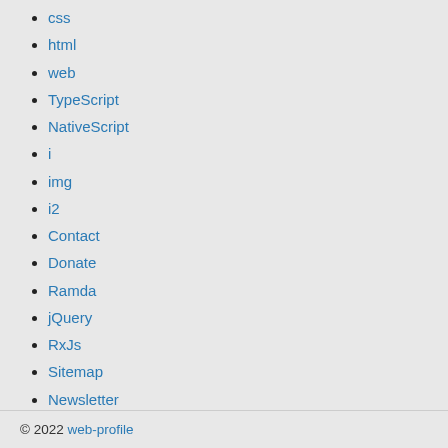css
html
web
TypeScript
NativeScript
i
img
i2
Contact
Donate
Ramda
jQuery
RxJs
Sitemap
Newsletter
DevOps
© 2022 web-profile